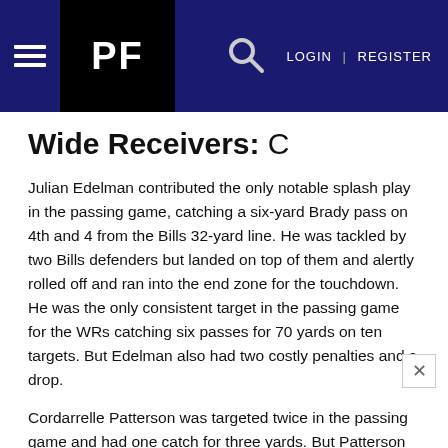PF | LOGIN | REGISTER
Wide Receivers: C
Julian Edelman contributed the only notable splash play in the passing game, catching a six-yard Brady pass on 4th and 4 from the Bills 32-yard line. He was tackled by two Bills defenders but landed on top of them and alertly rolled off and ran into the end zone for the touchdown. He was the only consistent target in the passing game for the WRs catching six passes for 70 yards on ten targets. But Edelman also had two costly penalties and a drop.
Cordarrelle Patterson was targeted twice in the passing game and had one catch for three yards. But Patterson was outstanding at running the ball on the Jet sweeps gaining 66 yards on 4 carries, using his speed to burn past Bills defenders. Phillip Dorsett had 10...